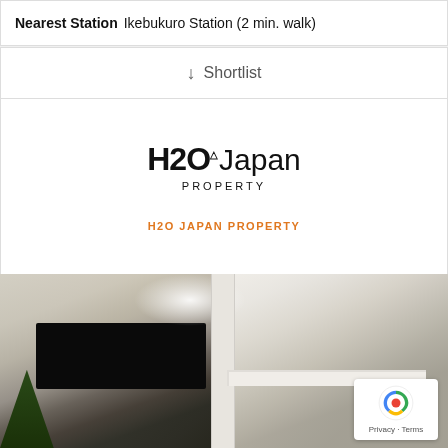Nearest Station Ikebukuro Station (2 min. walk)
↓ Shortlist
[Figure (logo): H2O Japan Property logo with bold H2O and light Japan text, PROPERTY in spaced caps below]
H2O JAPAN PROPERTY
[Figure (photo): Interior photo of a modern Japanese apartment showing living room with large TV on left and open kitchen on right, bright and airy]